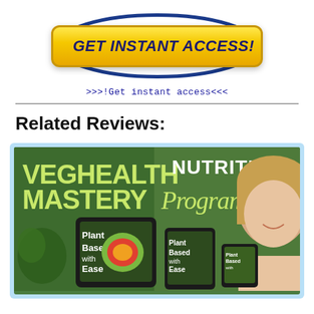[Figure (illustration): Yellow 'GET INSTANT ACCESS!' button with blue oval border on white background]
>>>!Get instant access<<<
Related Reviews:
[Figure (photo): VegHealth Nutrition Mastery Program promotional banner showing a smiling blonde woman, tablets/phones with 'Plant Based with Ease' text, on a green background]